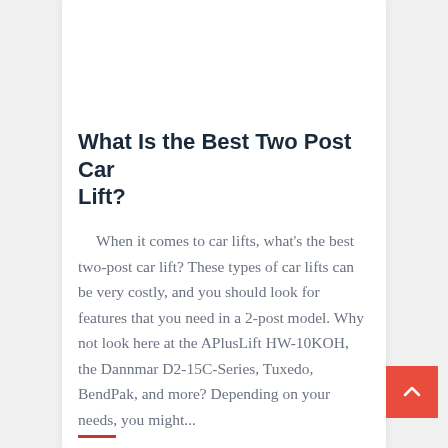What Is the Best Two Post Car Lift?
When it comes to car lifts, what's the best two-post car lift? These types of car lifts can be very costly, and you should look for features that you need in a 2-post model. Why not look here at the APlusLift HW-10KOH, the Dannmar D2-15C-Series, Tuxedo, BendPak, and more? Depending on your needs, you might...